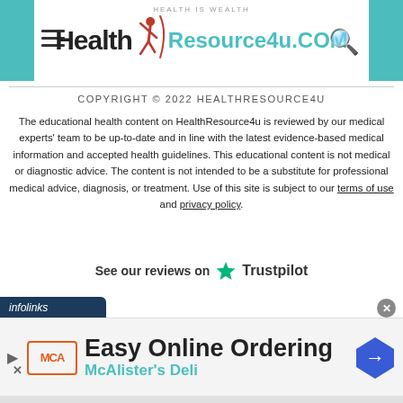[Figure (logo): HealthResource4u.COM logo with tagline 'HEALTH IS WEALTH', hamburger menu icon on left, search icon on right, teal accent blocks on sides]
COPYRIGHT © 2022 HEALTHRESOURCE4U
The educational health content on HealthResource4u is reviewed by our medical experts' team to be up-to-date and in line with the latest evidence-based medical information and accepted health guidelines. This educational content is not medical or diagnostic advice. The content is not intended to be a substitute for professional medical advice, diagnosis, or treatment. Use of this site is subject to our terms of use and privacy policy.
See our reviews on ★ Trustpilot
[Figure (screenshot): Advertisement banner: infolinks label, close button, play button, MCA logo, 'Easy Online Ordering' heading, 'McAlister's Deli' subtitle, blue diamond arrow icon on right]